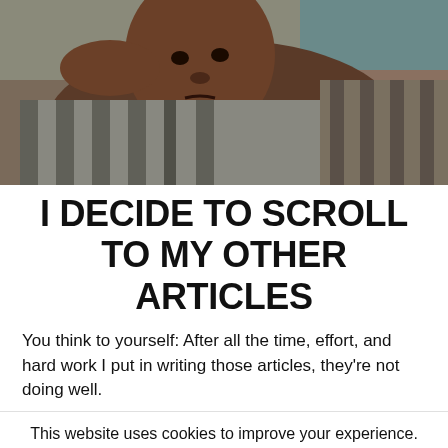[Figure (photo): A young Black boy with a contemplative or sad expression, wearing a striped shirt, resting his arm on his head, sitting on a couch.]
I DECIDE TO SCROLL TO MY OTHER ARTICLES
You think to yourself: After all the time, effort, and hard work I put in writing those articles, they're not doing well.
This website uses cookies to improve your experience. We'll assume you're ok with this, but you can opt-out if you wish.
Cookie settings   ACCEPT